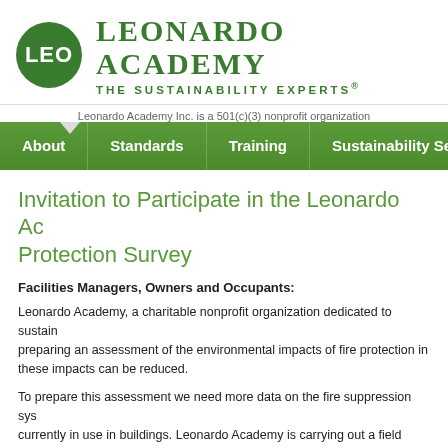[Figure (logo): Leonardo Academy logo with green circle containing LEO text, and organization name with tagline THE SUSTAINABILITY EXPERTS®]
Leonardo Academy Inc. is a 501(c)(3) nonprofit organization
About | Standards | Training | Sustainability Services
Invitation to Participate in the Leonardo Academy Fire Protection Survey
Facilities Managers, Owners and Occupants:
Leonardo Academy, a charitable nonprofit organization dedicated to sustainability, is preparing an assessment of the environmental impacts of fire protection including how these impacts can be reduced.
To prepare this assessment we need more data on the fire suppression systems currently in use in buildings. Leonardo Academy is carrying out a field research to obtain the data. You can help us gather the information we need by participating in a survey of the fire protection systems being used in your buildings.